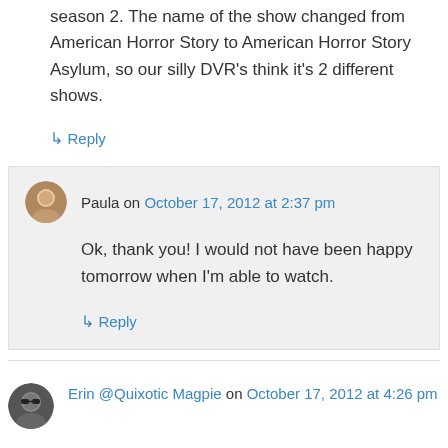season 2. The name of the show changed from American Horror Story to American Horror Story Asylum, so our silly DVR's think it's 2 different shows.
↳ Reply
Paula on October 17, 2012 at 2:37 pm
Ok, thank you! I would not have been happy tomorrow when I'm able to watch.
↳ Reply
Erin @Quixotic Magpie on October 17, 2012 at 4:26 pm